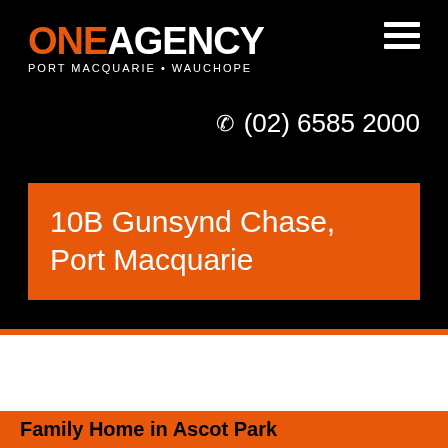[Figure (logo): One Agency logo with orange ONE and white AGENCY text, subtitle PORT MACQUARIE • WAUCHOPE]
(02) 6585 2000
10B Gunsynd Chase, Port Macquarie
[Figure (photo): Property photo area (white/blank)]
Family Home in Ascot Park